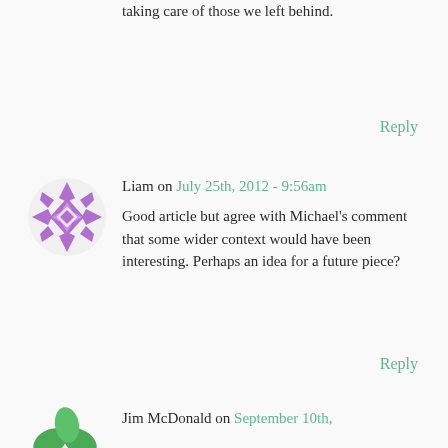taking care of those we left behind.
Reply
[Figure (illustration): Purple geometric flower/diamond pattern avatar icon for user Liam]
Liam on July 25th, 2012 - 9:56am
Good article but agree with Michael's comment that some wider context would have been interesting. Perhaps an idea for a future piece?
Reply
[Figure (illustration): Green leaf/plant avatar icon for user Jim McDonald]
Jim McDonald on September 10th,